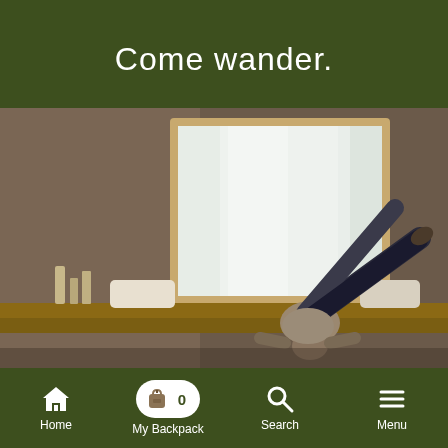Come wander.
[Figure (photo): Person doing a yoga headstand pose with one leg raised near a window with white curtains, in a warmly lit room with a wooden shelf and pillows.]
ITINERARY
Home  My Backpack 0  Search  Menu